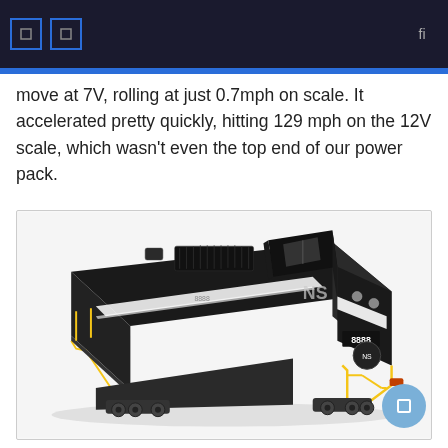move at 7V, rolling at just 0.7mph on scale. It accelerated pretty quickly, hitting 129 mph on the 12V scale, which wasn't even the top end of our power pack.
[Figure (photo): Model locomotive (Norfolk Southern #8888) black diesel engine model with yellow safety markings, photographed on white background at a three-quarter angle showing detail of the cab end and running gear.]